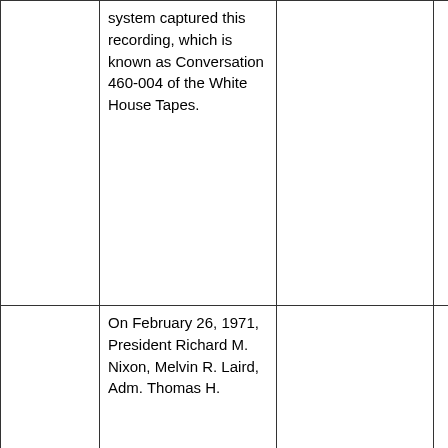|  | system captured this recording, which is known as Conversation 460-004 of the White House Tapes. |  |  |
|  | On February 26, 1971, President Richard M. Nixon, Melvin R. Laird, Adm. Thomas H. |  |  |